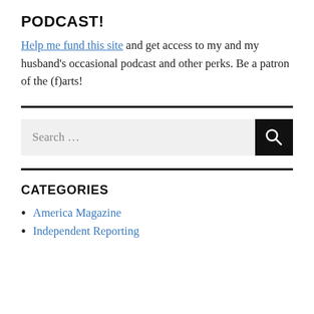PODCAST!
Help me fund this site and get access to my and my husband’s occasional podcast and other perks. Be a patron of the (f)arts!
[Figure (other): Search bar with text input field labeled 'Search ...' and a black search button with magnifying glass icon]
CATEGORIES
America Magazine
Independent Reporting